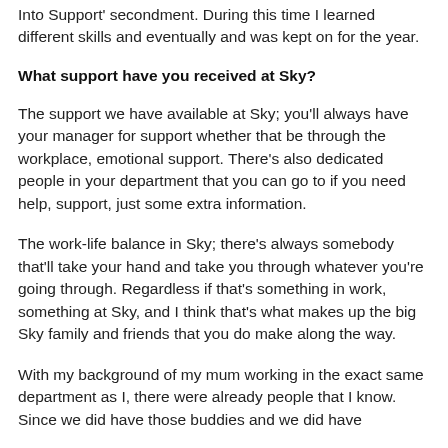Into Support' secondment. During this time I learned different skills and eventually and was kept on for the year.
What support have you received at Sky?
The support we have available at Sky; you'll always have your manager for support whether that be through the workplace, emotional support. There's also dedicated people in your department that you can go to if you need help, support, just some extra information.
The work-life balance in Sky; there's always somebody that'll take your hand and take you through whatever you're going through. Regardless if that's something in work, something at Sky, and I think that's what makes up the big Sky family and friends that you do make along the way.
With my background of my mum working in the exact same department as I, there were already people that I know. Since we did have those buddies and we did have